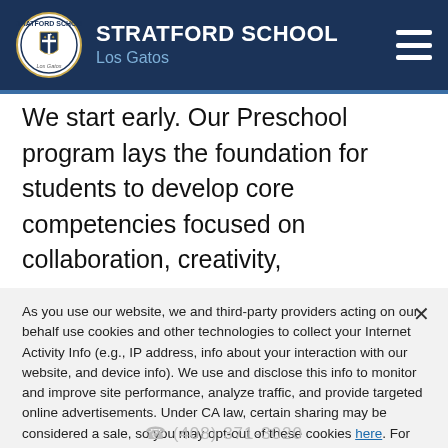STRATFORD SCHOOL Los Gatos
We start early. Our Preschool program lays the foundation for students to develop core competencies focused on collaboration, creativity,
communication, and critical thinking. Our teachers create a warm and nurturing learning environment
As you use our website, we and third-party providers acting on our behalf use cookies and other technologies to collect your Internet Activity Info (e.g., IP address, info about your interaction with our website, and device info). We use and disclose this info to monitor and improve site performance, analyze traffic, and provide targeted online advertisements. Under CA law, certain sharing may be considered a sale, so you may opt-out of these cookies here. For more information, please review the Privacy and Cookie Notice and Privacy Notice for California Residents.
(408) 371-3020